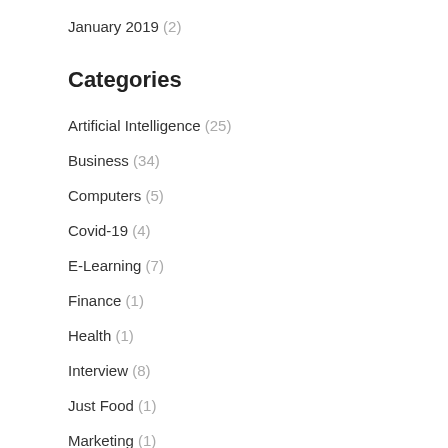January 2019 (2)
Categories
Artificial Intelligence (25)
Business (34)
Computers (5)
Covid-19 (4)
E-Learning (7)
Finance (1)
Health (1)
Interview (8)
Just Food (1)
Marketing (1)